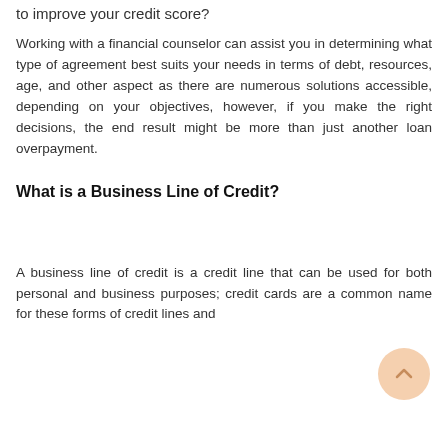to improve your credit score?
Working with a financial counselor can assist you in determining what type of agreement best suits your needs in terms of debt, resources, age, and other aspect as there are numerous solutions accessible, depending on your objectives, however, if you make the right decisions, the end result might be more than just another loan overpayment.
What is a Business Line of Credit?
A business line of credit is a credit line that can be used for both personal and business purposes; credit cards are a common name for these forms of credit lines and